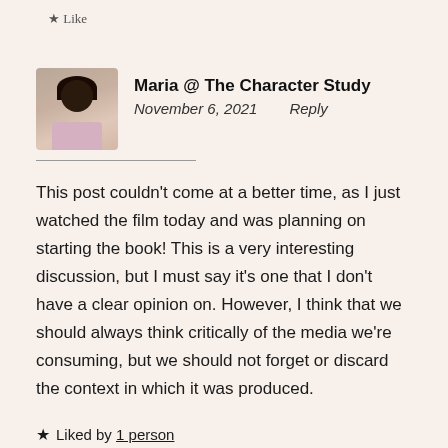Like
Maria @ The Character Study
November 6, 2021    Reply
This post couldn't come at a better time, as I just watched the film today and was planning on starting the book! This is a very interesting discussion, but I must say it's one that I don't have a clear opinion on. However, I think that we should always think critically of the media we're consuming, but we should not forget or discard the context in which it was produced.
★ Liked by 1 person